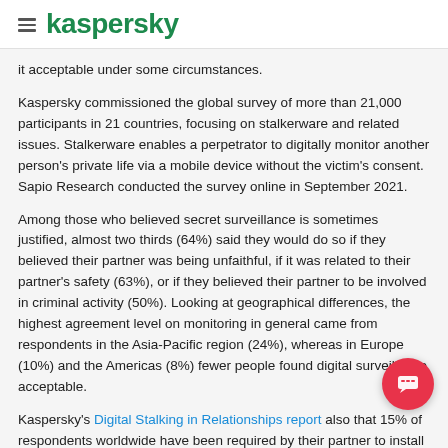kaspersky
it acceptable under some circumstances.
Kaspersky commissioned the global survey of more than 21,000 participants in 21 countries, focusing on stalkerware and related issues. Stalkerware enables a perpetrator to digitally monitor another person's private life via a mobile device without the victim's consent. Sapio Research conducted the survey online in September 2021.
Among those who believed secret surveillance is sometimes justified, almost two thirds (64%) said they would do so if they believed their partner was being unfaithful, if it was related to their partner's safety (63%), or if they believed their partner to be involved in criminal activity (50%). Looking at geographical differences, the highest agreement level on monitoring in general came from respondents in the Asia-Pacific region (24%), whereas in Europe (10%) and the Americas (8%) fewer people found digital surveillance acceptable.
Kaspersky's Digital Stalking in Relationships report also that 15% of respondents worldwide have been required by their partner to install a monitoring app. Sadly, 34% of those